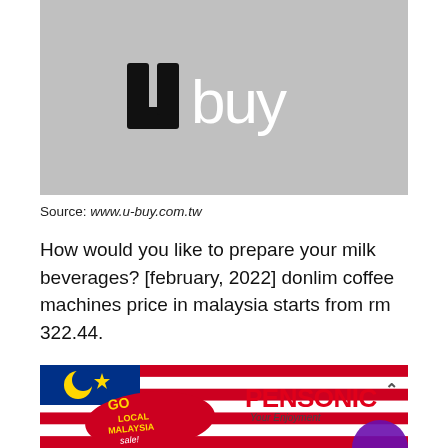[Figure (logo): Ubuy logo on grey background — stylized 'Ubuy' text in black and white]
Source: www.u-buy.com.tw
How would you like to prepare your milk beverages? [february, 2022] donlim coffee machines price in malaysia starts from rm 322.44.
[Figure (illustration): Pensonic Go Local Malaysia Sale promotional banner with Malaysian flag imagery, red and white stripes, gold 'GO LOCAL MALAYSIA sale!' text, and Pensonic brand logo with tagline 'Your Enjoyment']